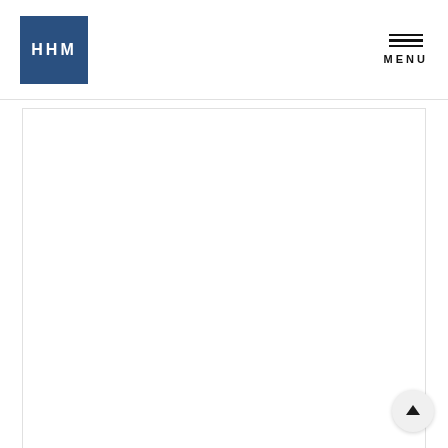[Figure (logo): HHM law firm logo — dark blue square with white letters H H M]
MENU
[Figure (other): Large white content box area with light border, occupying the main body of the page below the header]
[Figure (other): Back-to-top button: circular grey button with upward chevron arrow in bottom right corner]